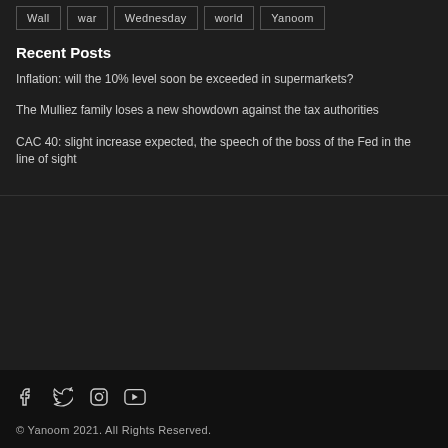Wall
war
Wednesday
world
Yanoom
Recent Posts
Inflation: will the 10% level soon be exceeded in supermarkets?
The Mulliez family loses a new showdown against the tax authorities
CAC 40: slight increase expected, the speech of the boss of the Fed in the line of sight
© Yanoom 2021. All Rights Reserved.